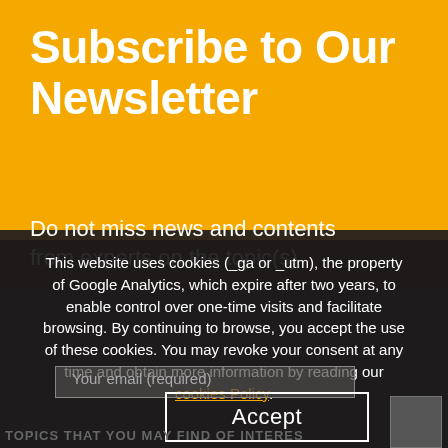Subscribe to Our Newsletter
Do not miss news and contents from experts on the topic(s)
This website uses cookies (_ga or _utm), the property of Google Analytics, which expire after two years, to enable control over one-time visits and facilitate browsing. By continuing to browse, you accept the use of these cookies. You may revoke your consent at any time and obtain more information by reading our cookies Policy.
Your email (required)
Accept
TOPICS THAT YOU MAY FIND OF INTERES